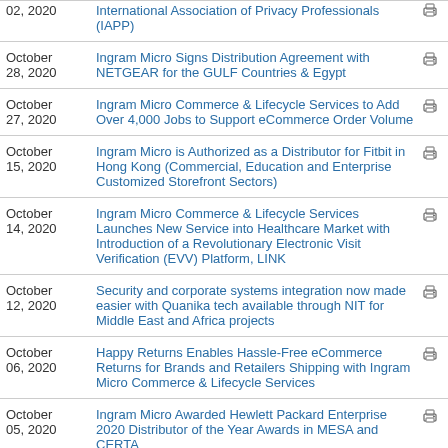| Date | Headline |  |
| --- | --- | --- |
| 02, 2020 | International Association of Privacy Professionals (IAPP) |  |
| October 28, 2020 | Ingram Micro Signs Distribution Agreement with NETGEAR for the GULF Countries & Egypt |  |
| October 27, 2020 | Ingram Micro Commerce & Lifecycle Services to Add Over 4,000 Jobs to Support eCommerce Order Volume |  |
| October 15, 2020 | Ingram Micro is Authorized as a Distributor for Fitbit in Hong Kong (Commercial, Education and Enterprise Customized Storefront Sectors) |  |
| October 14, 2020 | Ingram Micro Commerce & Lifecycle Services Launches New Service into Healthcare Market with Introduction of a Revolutionary Electronic Visit Verification (EVV) Platform, LINK |  |
| October 12, 2020 | Security and corporate systems integration now made easier with Quanika tech available through NIT for Middle East and Africa projects |  |
| October 06, 2020 | Happy Returns Enables Hassle-Free eCommerce Returns for Brands and Retailers Shipping with Ingram Micro Commerce & Lifecycle Services |  |
| October 05, 2020 | Ingram Micro Awarded Hewlett Packard Enterprise 2020 Distributor of the Year Awards in MESA and CERTA |  |